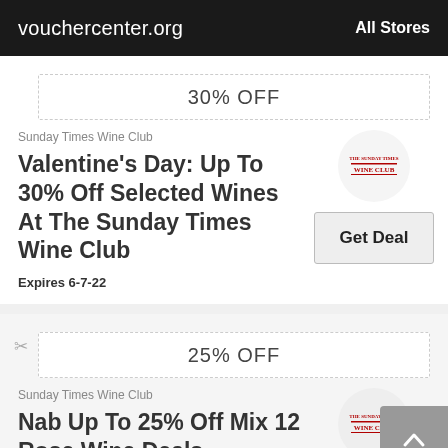vouchercenter.org   All Stores
30% OFF
Sunday Times Wine Club
Valentine's Day: Up To 30% Off Selected Wines At The Sunday Times Wine Club
Expires 6-7-22
Get Deal
25% OFF
Sunday Times Wine Club
Nab Up To 25% Off Mix 12 Rose Wine Deals